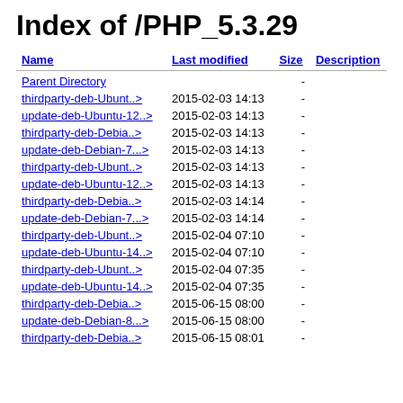Index of /PHP_5.3.29
| Name | Last modified | Size | Description |
| --- | --- | --- | --- |
| Parent Directory |  | - |  |
| thirdparty-deb-Ubunt..> | 2015-02-03 14:13 | - |  |
| update-deb-Ubuntu-12..> | 2015-02-03 14:13 | - |  |
| thirdparty-deb-Debia..> | 2015-02-03 14:13 | - |  |
| update-deb-Debian-7...> | 2015-02-03 14:13 | - |  |
| thirdparty-deb-Ubunt..> | 2015-02-03 14:13 | - |  |
| update-deb-Ubuntu-12..> | 2015-02-03 14:13 | - |  |
| thirdparty-deb-Debia..> | 2015-02-03 14:14 | - |  |
| update-deb-Debian-7...> | 2015-02-03 14:14 | - |  |
| thirdparty-deb-Ubunt..> | 2015-02-04 07:10 | - |  |
| update-deb-Ubuntu-14..> | 2015-02-04 07:10 | - |  |
| thirdparty-deb-Ubunt..> | 2015-02-04 07:35 | - |  |
| update-deb-Ubuntu-14..> | 2015-02-04 07:35 | - |  |
| thirdparty-deb-Debia..> | 2015-06-15 08:00 | - |  |
| update-deb-Debian-8...> | 2015-06-15 08:00 | - |  |
| thirdparty-deb-Debia..> | 2015-06-15 08:01 | - |  |